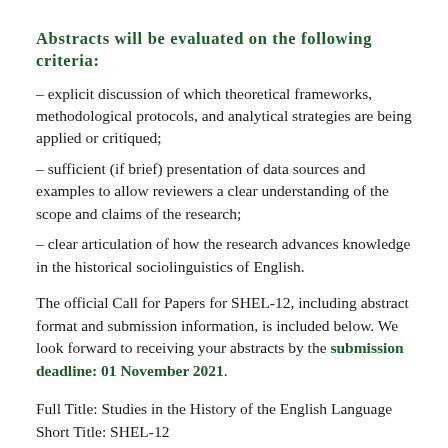Abstracts will be evaluated on the following criteria:
– explicit discussion of which theoretical frameworks, methodological protocols, and analytical strategies are being applied or critiqued;
– sufficient (if brief) presentation of data sources and examples to allow reviewers a clear understanding of the scope and claims of the research;
– clear articulation of how the research advances knowledge in the historical sociolinguistics of English.
The official Call for Papers for SHEL-12, including abstract format and submission information, is included below. We look forward to receiving your abstracts by the submission deadline: 01 November 2021.
Full Title: Studies in the History of the English Language Short Title: SHEL-12